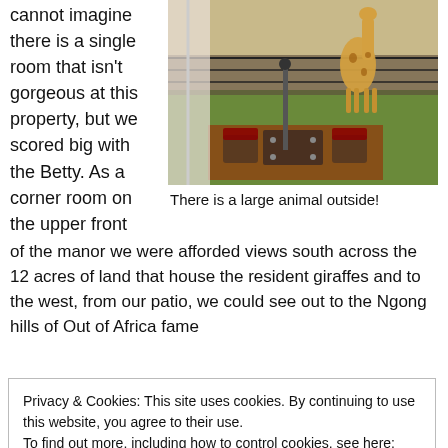cannot imagine there is a single room that isn't gorgeous at this property, but we scored big with the Betty. As a corner room on the upper front
[Figure (photo): Photo taken from above showing a giraffe on a green lawn with outdoor patio furniture (dark wicker chairs and a table with a red cushion) in the foreground, and a fenced area in the background.]
There is a large animal outside!
of the manor we were afforded views south across the 12 acres of land that house the resident giraffes and to the west, from our patio, we could see out to the Ngong hills of Out of Africa fame
Privacy & Cookies: This site uses cookies. By continuing to use this website, you agree to their use.
To find out more, including how to control cookies, see here: Cookie Policy
think from India), two couples and a child from Eastern Europe,